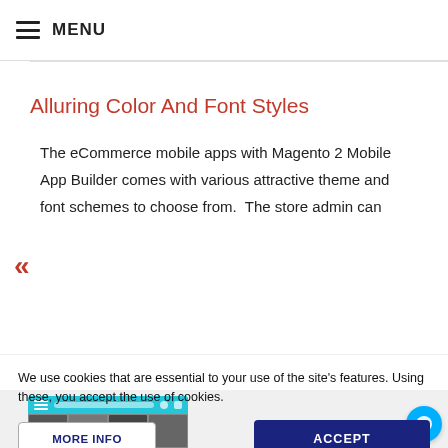MENU
Alluring Color And Font Styles
The eCommerce mobile apps with Magento 2 Mobile App Builder comes with various attractive theme and font schemes to choose from.  The store admin can
We use cookies that are essential to your use of the site's features. Using these, you accept the use of cookies.
MORE INFO
ACCEPT
[Figure (screenshot): Mobile app screenshot at bottom of page]